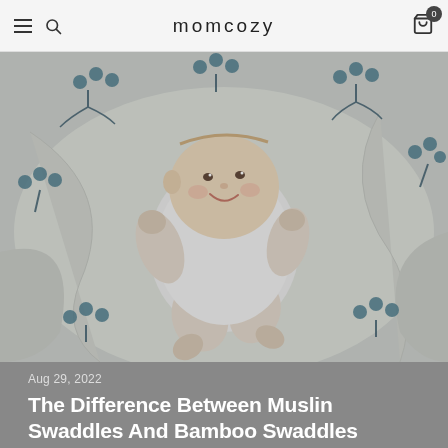momcozy
[Figure (photo): Baby lying on a white muslin swaddle blanket with blue botanical/berry print pattern, smiling and looking up]
Aug 29, 2022
The Difference Between Muslin Swaddles And Bamboo Swaddles